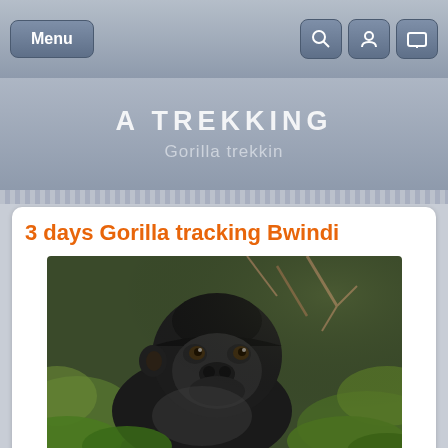Menu | Search | User | Display
A TREKKING
Gorilla trekkin
3 days Gorilla tracking Bwindi
[Figure (photo): Close-up photograph of a mountain gorilla looking upward, surrounded by green foliage and dry vegetation]
The 3-Days Gorilla tracking in Bwindi Impenetrable Gorilla Safari